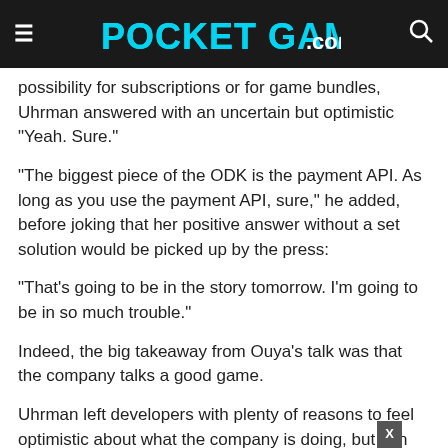POCKET GAMER.com
possibility for subscriptions or for game bundles, Uhrman answered with an uncertain but optimistic "Yeah. Sure."
"The biggest piece of the ODK is the payment API. As long as you use the payment API, sure," he added, before joking that her positive answer without a set solution would be picked up by the press:
"That's going to be in the story tomorrow. I'm going to be in so much trouble."
Indeed, the big takeaway from Ouya's talk was that the company talks a good game.
Uhrman left developers with plenty of reasons to feel optimistic about what the company is doing, but – in reality – there's much about Ouya that is yet to be set in stone.
For those looking for a fresh platform to disrupt the rest of the